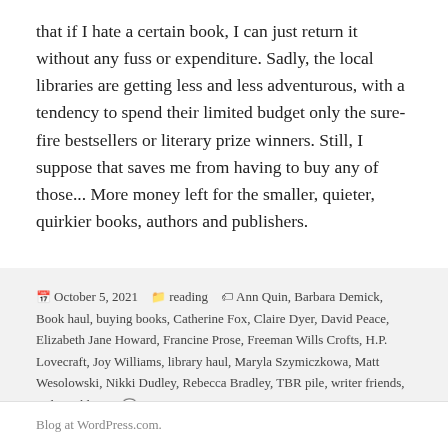that if I hate a certain book, I can just return it without any fuss or expenditure. Sadly, the local libraries are getting less and less adventurous, with a tendency to spend their limited budget only the sure-fire bestsellers or literary prize winners. Still, I suppose that saves me from having to buy any of those... More money left for the smaller, quieter, quirkier books, authors and publishers.
October 5, 2021   reading   Ann Quin, Barbara Demick, Book haul, buying books, Catherine Fox, Claire Dyer, David Peace, Elizabeth Jane Howard, Francine Prose, Freeman Wills Crofts, H.P. Lovecraft, Joy Williams, library haul, Maryla Szymiczkowa, Matt Wesolowski, Nikki Dudley, Rebecca Bradley, TBR pile, writer friends, Yulia Yaklova   23 Comments
Blog at WordPress.com.